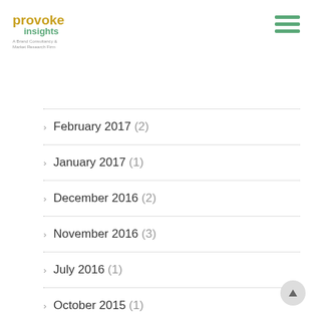provoke insights — A Brand Consultancy & Market Research Firm
February 2017 (2)
January 2017 (1)
December 2016 (2)
November 2016 (3)
July 2016 (1)
October 2015 (1)
September 2015 (16)